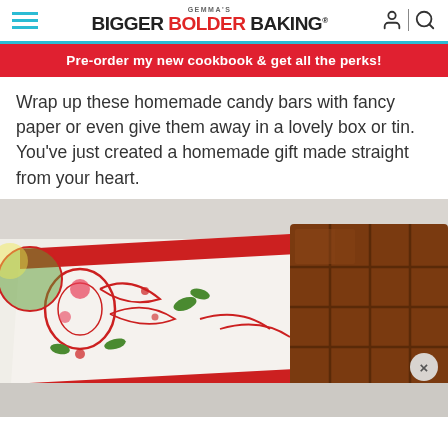GEMMA'S BIGGER BOLDER BAKING®
Pre-order my new cookbook & get all the perks!
Wrap up these homemade candy bars with fancy paper or even give them away in a lovely box or tin. You've just created a homemade gift made straight from your heart.
[Figure (photo): A decorative holiday tin with red and green floral patterns next to a large milk chocolate bar broken into squares, on a white surface.]